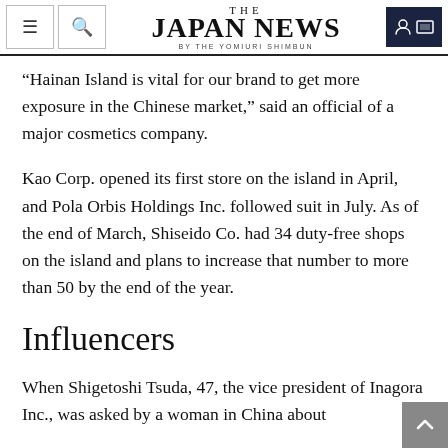THE JAPAN NEWS BY THE YOMIURI SHIMBUN
“Hainan Island is vital for our brand to get more exposure in the Chinese market,” said an official of a major cosmetics company.
Kao Corp. opened its first store on the island in April, and Pola Orbis Holdings Inc. followed suit in July. As of the end of March, Shiseido Co. had 34 duty-free shops on the island and plans to increase that number to more than 50 by the end of the year.
Influencers
When Shigetoshi Tsuda, 47, the vice president of Inagora Inc., was asked by a woman in China about